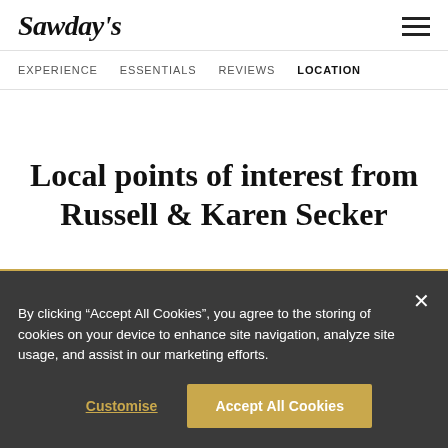Sawday's
EXPERIENCE   ESSENTIALS   REVIEWS   LOCATION
Local points of interest from Russell & Karen Secker
By clicking “Accept All Cookies”, you agree to the storing of cookies on your device to enhance site navigation, analyze site usage, and assist in our marketing efforts.
Customise   Accept All Cookies